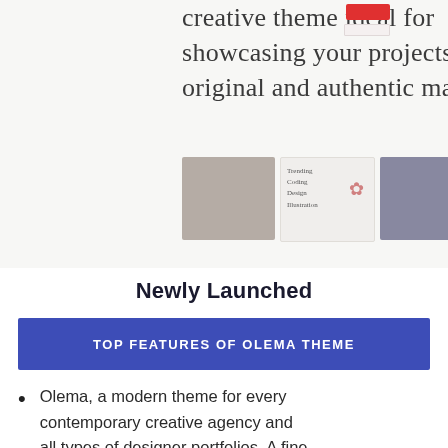[Figure (screenshot): Screenshot of a website/theme interface showing italic serif text reading 'creative theme ideal for showcasing your projects in an original and authentic manner.' with a red button in the top right and three thumbnail images of portfolio layouts below.]
Newly Launched
TOP FEATURES OF OLEMA THEME
Olema, a modern theme for every contemporary creative agency and all types of designer portfolios. A fine assortment of unique portfolio styles, custom-made hover effects and tons more awaits inside. Create a truly